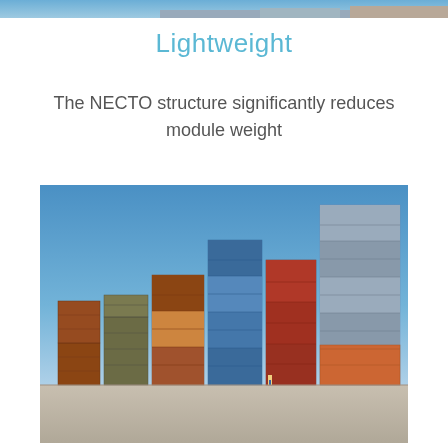[Figure (photo): Partial top strip of a photo showing stacked shipping containers against a blue sky]
Lightweight
The NECTO structure significantly reduces module weight
[Figure (photo): Photo of multiple tall stacks of colorful shipping containers (red, blue, orange, grey, brown) in an outdoor yard against a clear blue sky, with a concrete ground visible at the bottom]